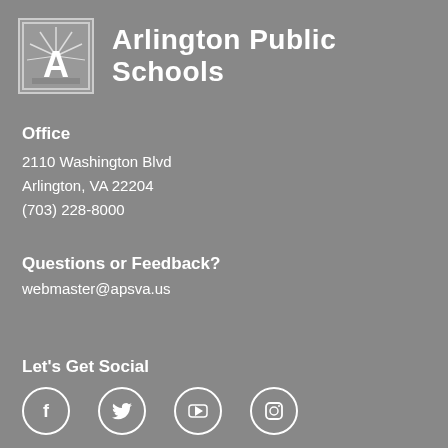[Figure (logo): Arlington Public Schools logo — letter A with sunburst rays in a square border]
Arlington Public Schools
Office
2110 Washington Blvd
Arlington, VA 22204
(703) 228-8000
Questions or Feedback?
webmaster@apsva.us
Let's Get Social
[Figure (illustration): Social media icons: Facebook, Twitter, YouTube, Instagram — white circle outlines with white icons]